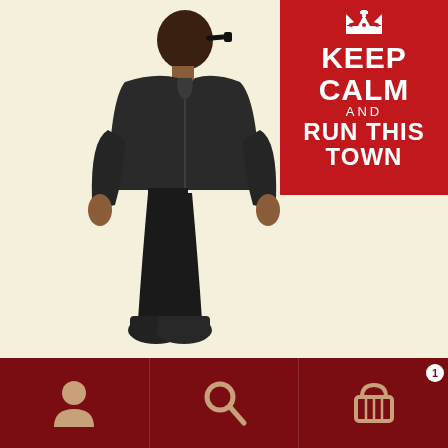[Figure (illustration): A stylized illustration of a man seen from the back, wearing a dark jacket, black trousers, dark boots and sunglasses, standing on a cream/off-white background. In the top-right corner is a red 'Keep Calm and Run This Town' badge with a crown icon.]
PROBLEM  #24
"UNIMAGINATIVE BRANDING"
[Figure (infographic): Dark red navigation bar at the bottom with three icons: a person/user icon on the left, a search/magnifying glass icon in the center, and a shopping basket icon with badge '1' on the right.]